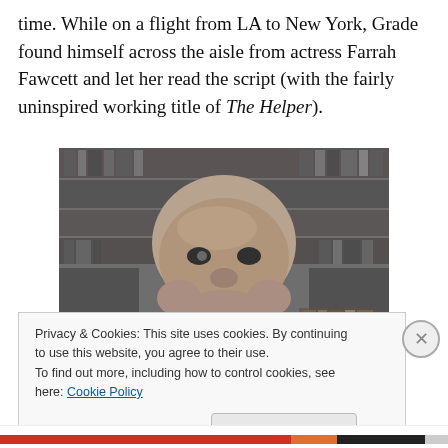time. While on a flight from LA to New York, Grade found himself across the aisle from actress Farrah Fawcett and let her read the script (with the fairly uninspired working title of The Helper).
[Figure (photo): Black and white photograph of a heavyset bald man with a cigar in his mouth, seated in front of bookshelves filled with books.]
Privacy & Cookies: This site uses cookies. By continuing to use this website, you agree to their use.
To find out more, including how to control cookies, see here: Cookie Policy